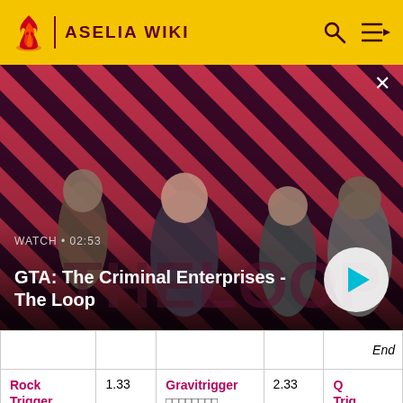ASELIA WIKI
[Figure (screenshot): GTA: The Criminal Enterprises - The Loop video thumbnail with four game characters on a red diagonal-striped background. Shows WATCH • 02:53 label and a play button.]
|  |  |  |  | End |
| --- | --- | --- | --- | --- |
| Rock Trigger (Japanese text) | 1.33 | Gravitrigger (Japanese text) | 2.33 | Q Trig... (Japanese text) |
| Barrier (Japanese text) | 3.33 | Healing Cir... | 5.33 | – |